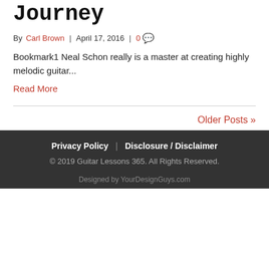Journey
By Carl Brown | April 17, 2016 | 0
Bookmark1 Neal Schon really is a master at creating highly melodic guitar...
Read More
Older Posts »
Privacy Policy | Disclosure / Disclaimer
© 2019 Guitar Lessons 365. All Rights Reserved.
Designed by YourDesignGuys.com